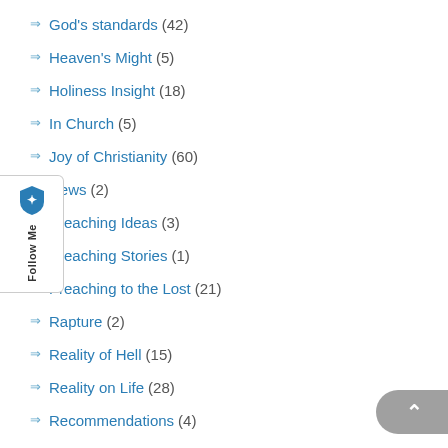God's standards (42)
Heaven's Might (5)
Holiness Insight (18)
In Church (5)
Joy of Christianity (60)
News (2)
Preaching Ideas (3)
Preaching Stories (1)
Preaching to the Lost (21)
Rapture (2)
Reality of Hell (15)
Reality on Life (28)
Recommendations (4)